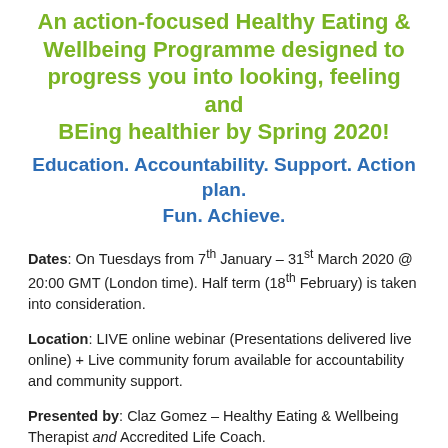An action-focused Healthy Eating & Wellbeing Programme designed to progress you into looking, feeling and BEing healthier by Spring 2020!
Education. Accountability. Support. Action plan. Fun. Achieve.
Dates: On Tuesdays from 7th January – 31st March 2020 @ 20:00 GMT (London time). Half term (18th February) is taken into consideration.
Location: LIVE online webinar (Presentations delivered live online) + Live community forum available for accountability and community support.
Presented by: Claz Gomez – Healthy Eating & Wellbeing Therapist and Accredited Life Coach.
Cost: £54 for the entire programme. Includes online forum support. Individual coaching is available at additional cost. No